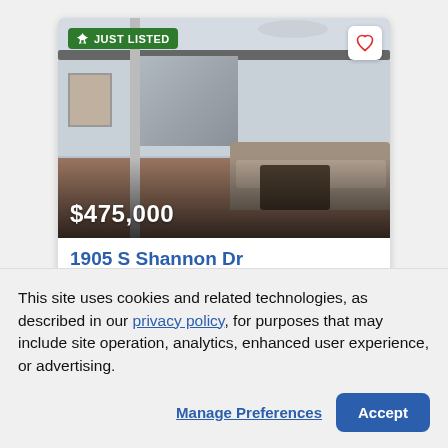[Figure (photo): Interior photo of a living room with high ceilings, mezzanine railing, sofa, and coffee table. Badge reads JUST LISTED. Price overlay shows $475,000.]
1905 S Shannon Dr
Tempe, AZ 85281
Townhouse | Active | Updated 6 hours ago
This site uses cookies and related technologies, as described in our privacy policy, for purposes that may include site operation, analytics, enhanced user experience, or advertising.
Manage Preferences
Accept